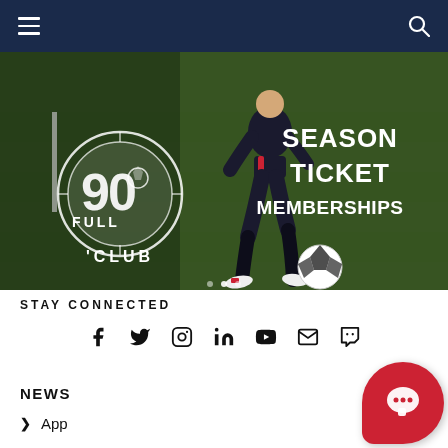Navigation bar with hamburger menu and search icon
[Figure (photo): Soccer player running with a ball on a green field. Overlaid with 'Full 90 Club' circular logo on the left and 'SEASON TICKET MEMBERSHIPS' text on the right in white bold letters.]
STAY CONNECTED
[Figure (infographic): Social media icons row: Facebook, Twitter, Instagram, LinkedIn, YouTube, Email, Twitch]
NEWS
App